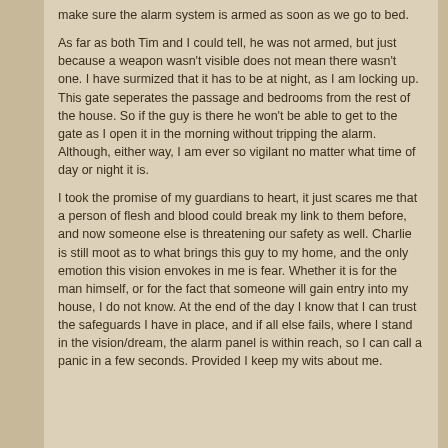make sure the alarm system is armed as soon as we go to bed.
As far as both Tim and I could tell, he was not armed, but just because a weapon wasn't visible does not mean there wasn't one. I have surmized that it has to be at night, as I am locking up. This gate seperates the passage and bedrooms from the rest of the house. So if the guy is there he won't be able to get to the gate as I open it in the morning without tripping the alarm. Although, either way, I am ever so vigilant no matter what time of day or night it is.
I took the promise of my guardians to heart, it just scares me that a person of flesh and blood could break my link to them before, and now someone else is threatening our safety as well. Charlie is still moot as to what brings this guy to my home, and the only emotion this vision envokes in me is fear. Whether it is for the man himself, or for the fact that someone will gain entry into my house, I do not know. At the end of the day I know that I can trust the safeguards I have in place, and if all else fails, where I stand in the vision/dream, the alarm panel is within reach, so I can call a panic in a few seconds. Provided I keep my wits about me.